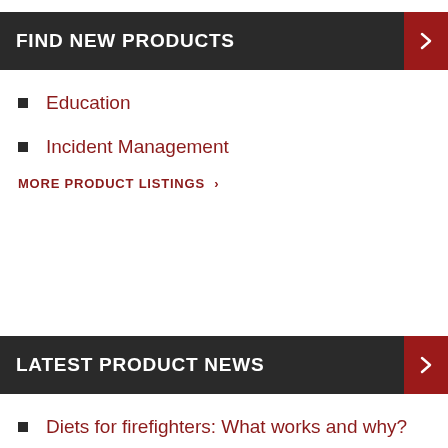FIND NEW PRODUCTS
Education
Incident Management
MORE PRODUCT LISTINGS >
LATEST PRODUCT NEWS
Diets for firefighters: What works and why?